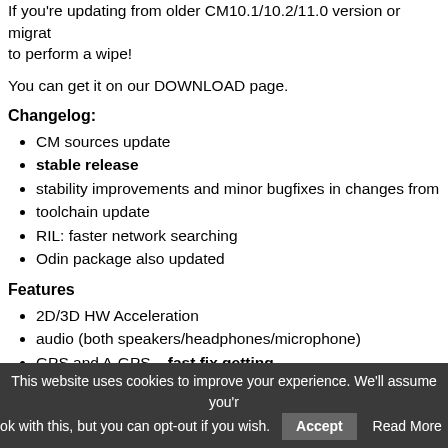If you're updating from older CM10.1/10.2/11.0 version or migrating, to perform a wipe!
You can get it on our DOWNLOAD page.
Changelog:
CM sources update
stable release
stability improvements and minor bugfixes in changes from
toolchain update
RIL: faster network searching
Odin package also updated
Features
2D/3D HW Acceleration
audio (both speakers/headphones/microphone)
GPS and A-GPS – fast fix getting
Glonass navigation
compass
sensors
Wi-fi
Bluetooth 4.0 with LE support A2DP
This website uses cookies to improve your experience. We'll assume you're ok with this, but you can opt-out if you wish. Accept Read More